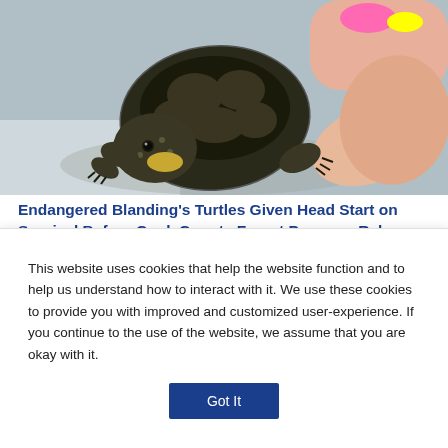[Figure (photo): Close-up photo of a small Blanding's turtle being held by a person with colorful nail polish, showing the turtle's spotted head and shell against a light background.]
Endangered Blanding’s Turtles Given Head Start on Survival Before Cook County Forest Preserve Release
[Figure (photo): Partial photo showing what appears to be a snake or reptile being held, with a green outdoor background.]
This website uses cookies that help the website function and to help us understand how to interact with it. We use these cookies to provide you with improved and customized user-experience. If you continue to the use of the website, we assume that you are okay with it.